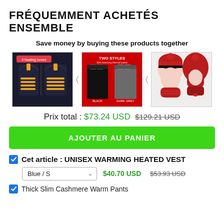FRÉQUEMMENT ACHETÉS ENSEMBLE
Save money by buying these products together
[Figure (photo): Three product images: heated vest, slim cashmere pants, winter hat/balaclava set]
Prix total : $73.24 USD $129.21 USD
AJOUTER AU PANIER
Cet article : UNISEX WARMING HEATED VEST
Blue / S  $40.70 USD  $53.93 USD
Thick Slim Cashmere Warm Pants